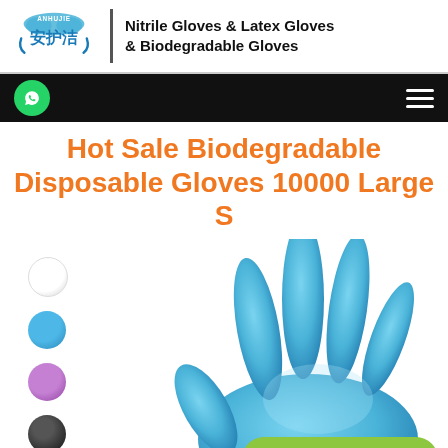[Figure (logo): Anhujie brand logo with Chinese characters 安护洁 in blue, cloud and hands icon above, with tagline Nitrile Gloves & Latex Gloves & Biodegradable Gloves]
Hot Sale Biodegradable Disposable Gloves 10000 Large S
[Figure (photo): Blue disposable glove raised open hand with color swatch dots on left (white, blue, purple, black) and a green Request for Quote button at bottom right]